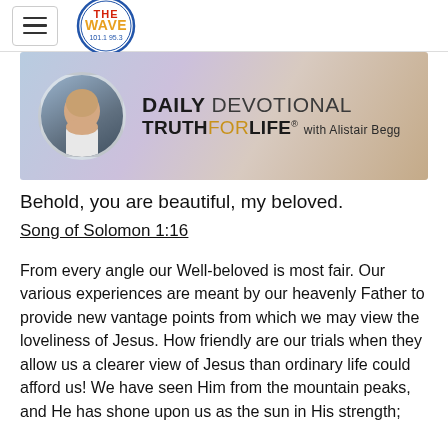THE WAVE radio logo with hamburger menu
[Figure (illustration): Daily Devotional Truth For Life with Alistair Begg banner image featuring a portrait of Alistair Begg in a circle on a soft purple/blue background]
Behold, you are beautiful, my beloved.
Song of Solomon 1:16
From every angle our Well-beloved is most fair. Our various experiences are meant by our heavenly Father to provide new vantage points from which we may view the loveliness of Jesus. How friendly are our trials when they allow us a clearer view of Jesus than ordinary life could afford us! We have seen Him from the mountain peaks, and He has shone upon us as the sun in His strength;